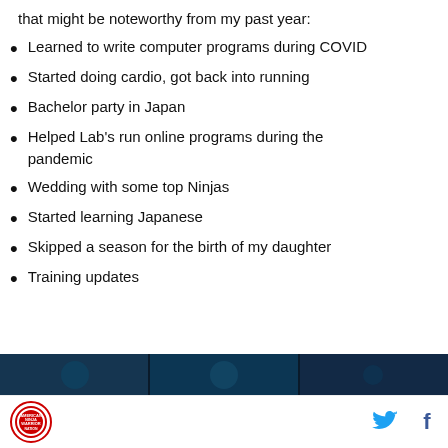that might be noteworthy from my past year:
Learned to write computer programs during COVID
Started doing cardio, got back into running
Bachelor party in Japan
Helped Lab's run online programs during the pandemic
Wedding with some top Ninjas
Started learning Japanese
Skipped a season for the birth of my daughter
Training updates
[Figure (photo): Dark blue photo strip at bottom of page]
Ninja Warriors logo | Twitter icon | Facebook icon